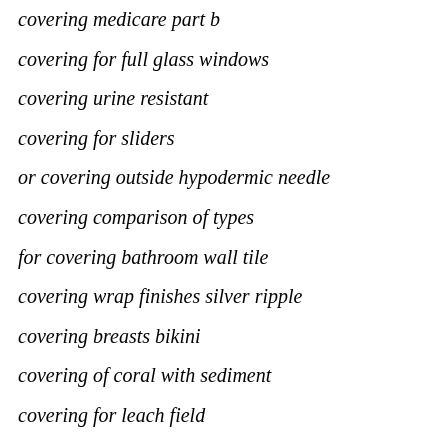covering medicare part b
covering for full glass windows
covering urine resistant
covering for sliders
or covering outside hypodermic needle
covering comparison of types
for covering bathroom wall tile
covering wrap finishes silver ripple
covering breasts bikini
covering of coral with sediment
covering for leach field
covering wallpaper mural
for covering vinyl shades
for covering bubble bath